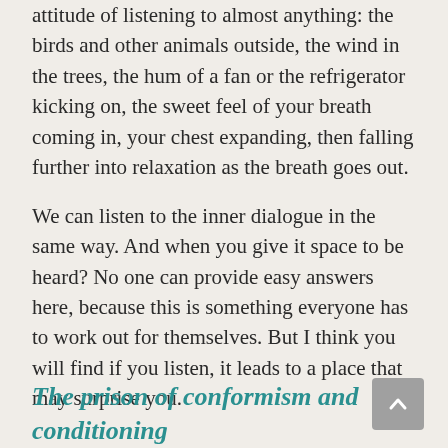attitude of listening to almost anything: the birds and other animals outside, the wind in the trees, the hum of a fan or the refrigerator kicking on, the sweet feel of your breath coming in, your chest expanding, then falling further into relaxation as the breath goes out.
We can listen to the inner dialogue in the same way. And when you give it space to be heard? No one can provide easy answers here, because this is something everyone has to work out for themselves. But I think you will find if you listen, it leads to a place that may surprise you.
The prison of conformism and conditioning